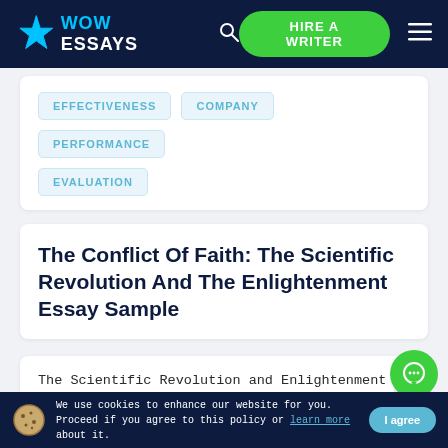WOW ESSAYS | HIRE A WRITER
EFFECTIVENESS
COMPANY
PERFORMANCE
EVALUATION
The Conflict Of Faith: The Scientific Revolution And The Enlightenment Essay Sample
The Scientific Revolution and Enlightenment are best understood as conflicts between faith and reason. This statement is accurate because this time period began the separation of church and state and opened the floodgates for science to begin to become more
We use cookies to enhance our website for you. Proceed if you agree to this policy or learn more about it. | I agree